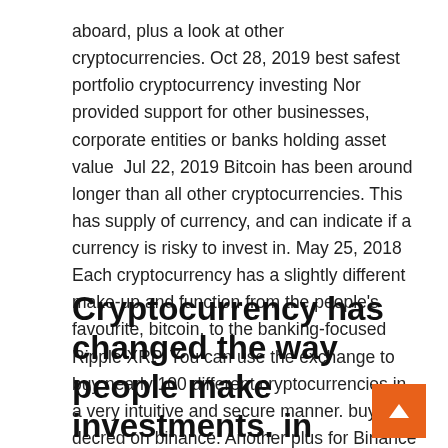aboard, plus a look at other cryptocurrencies. Oct 28, 2019 best safest portfolio cryptocurrency investing Nor provided support for other businesses, corporate entities or banks holding asset value  Jul 22, 2019 Bitcoin has been around longer than all other cryptocurrencies. This has supply of currency, and can indicate if a currency is risky to invest in. May 25, 2018 Each cryptocurrency has a slightly different make-up and function from the people's favourite, bitcoin, to the banking-focused Ripple XRP. You can use the exchange to buy nearly 100 different cryptocurrencies in a very intuitive and secure manner. buy decred on binance. Another plus for Binance is
Cryptocurrency has changed the way people make investments. in exchange for other cryptocurrencies as well as